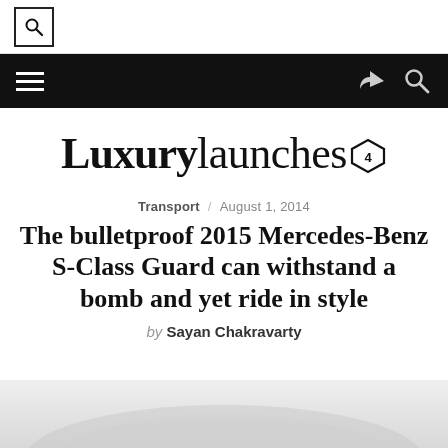[Search icon top bar]
[Navigation bar with hamburger menu, share icon, search icon]
Luxurylaunches
Transport / August 1, 2014
The bulletproof 2015 Mercedes-Benz S-Class Guard can withstand a bomb and yet ride in style
by Sayan Chakravarty
[Figure (photo): Partial view of a silver Mercedes-Benz car at the bottom of the page]